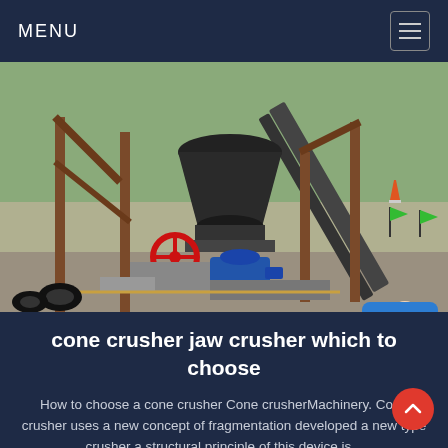MENU
[Figure (photo): Industrial cone crusher machinery on a construction/mining site with steel frame structures, conveyor belts, a blue electric motor, red valve wheel, and green safety markers in the background.]
cone crusher jaw crusher which to choose
How to choose a cone crusher Cone crusherMachinery. Cone crusher uses a new concept of fragmentation developed a new type crusher a structural principle of this device is...